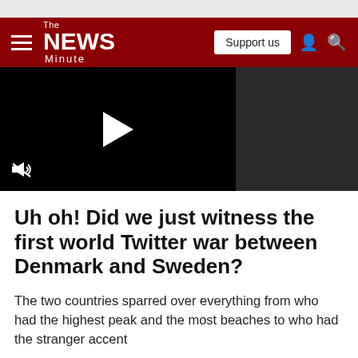The News Minute
[Figure (screenshot): Video player with black background, white play button triangle in center, mute icon bottom left, dark grey panel on the right]
Uh oh! Did we just witness the first world Twitter war between Denmark and Sweden?
The two countries sparred over everything from who had the highest peak and the most beaches to who had the stranger accent